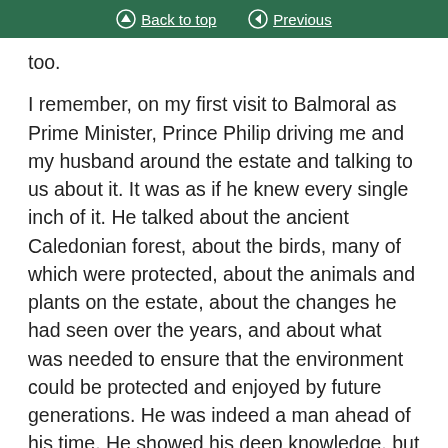Back to top  Previous
too.
I remember, on my first visit to Balmoral as Prime Minister, Prince Philip driving me and my husband around the estate and talking to us about it. It was as if he knew every single inch of it. He talked about the ancient Caledonian forest, about the birds, many of which were protected, about the animals and plants on the estate, about the changes he had seen over the years, and about what was needed to ensure that the environment could be protected and enjoyed by future generations. He was indeed a man ahead of his time. He showed his deep knowledge, but he was also an immensely practical person.
He was also a man of high standards. That did indeed come through in his attention to detail in the